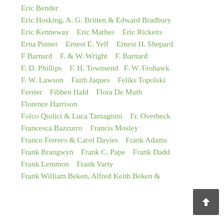Eric Bender
Eric Hosking, A. G. Britten & Edward Bradbury
Eric Kenneway   Eric Mathes   Eric Ricketts
Erna Pinner   Ernest E. Yelf   Ernest H. Shepard
F Barnard   F. & W. Wright   F. Barnard
F. D. Phillips   F. H. Townsend   F. W. Frohawk
F. W. Lawson   Faith Jaques   Feliks Topolski
Ferrier   Fibben Hald   Flora De Muth
Florence Harrison
Folco Quilici & Luca Tamagnini   Fr. Overbeck
Francesca Bazzurro   Francis Mosley
Franco Ferrero & Carol Davies   Frank Adams
Frank Brangwyn   Frank C. Pape   Frank Dadd
Frank Lemmon   Frank Varty
Frank William Beken, Alfred Keith Beken &